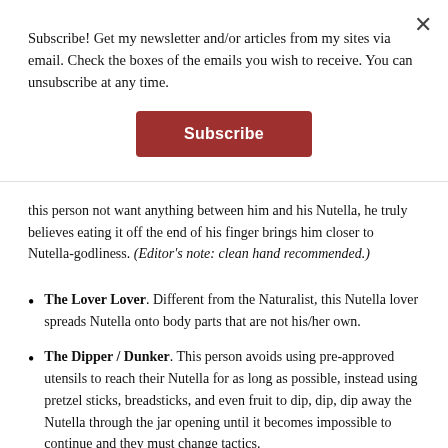Subscribe! Get my newsletter and/or articles from my sites via email. Check the boxes of the emails you wish to receive. You can unsubscribe at any time.
[Figure (other): A red Subscribe button]
this person not want anything between him and his Nutella, he truly believes eating it off the end of his finger brings him closer to Nutella-godliness. (Editor's note: clean hand recommended.)
The Lover Lover: Different from the Naturalist, this Nutella lover spreads Nutella onto body parts that are not his/her own.
The Dipper / Dunker: This person avoids using pre-approved utensils to reach their Nutella for as long as possible, instead using pretzel sticks, breadsticks, and even fruit to dip, dip, dip away the Nutella through the jar opening until it becomes impossible to continue and they must change tactics.